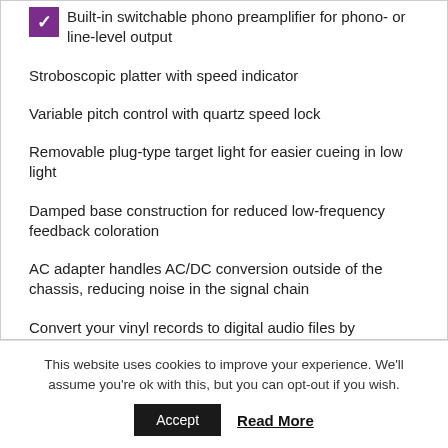Built-in switchable phono preamplifier for phono- or line-level output
Stroboscopic platter with speed indicator
Variable pitch control with quartz speed lock
Removable plug-type target light for easier cueing in low light
Damped base construction for reduced low-frequency feedback coloration
AC adapter handles AC/DC conversion outside of the chassis, reducing noise in the signal chain
Convert your vinyl records to digital audio files by downloading and using the free Mac- and PC-compatible Audacity recording software (or software of your choice)
This website uses cookies to improve your experience. We'll assume you're ok with this, but you can opt-out if you wish.
Accept  Read More